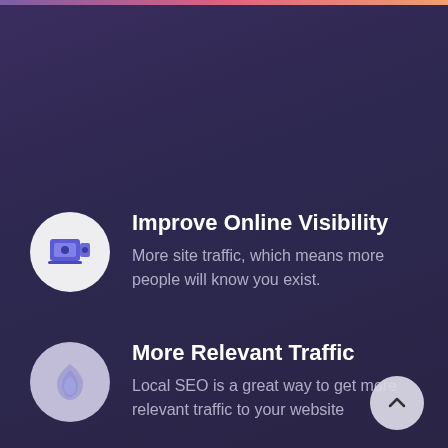[Figure (illustration): Decorative top gradient bar in pink/purple/orange]
Improve Online Visibility
More site traffic, which means more people will know you exist.
More Relevant Traffic
Local SEO is a great way to get more relevant traffic to your website